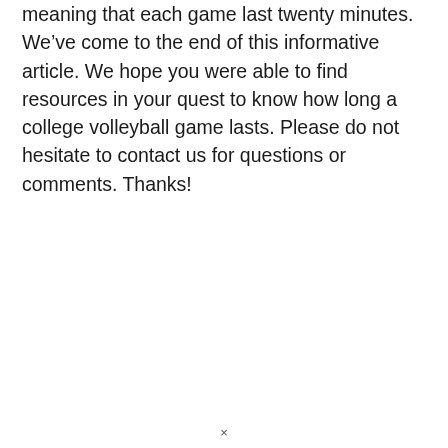meaning that each game last twenty minutes. We've come to the end of this informative article. We hope you were able to find resources in your quest to know how long a college volleyball game lasts. Please do not hesitate to contact us for questions or comments. Thanks!
×